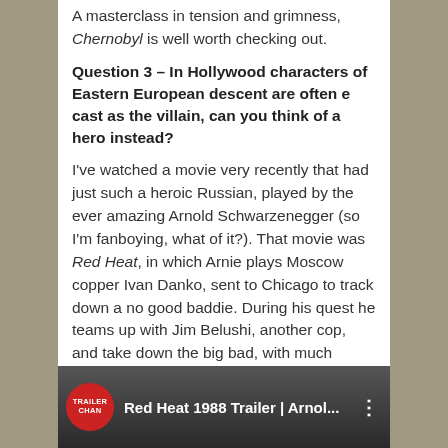A masterclass in tension and grimness, Chernobyl is well worth checking out.
Question 3 – In Hollywood characters of Eastern European descent are often e cast as the villain, can you think of a hero instead?
I've watched a movie very recently that had just such a heroic Russian, played by the ever amazing Arnold Schwarzenegger (so I'm fanboying, what of it?). That movie was Red Heat, in which Arnie plays Moscow copper Ivan Danko, sent to Chicago to track down a no good baddie. During his quest he teams up with Jim Belushi, another cop, and take down the big bad, with much action and many one liners!
[Figure (screenshot): YouTube-style video thumbnail showing 'Red Heat 1988 Trailer | Arnol...' with a red circular Trailer Chan logo badge on the left and three vertical dots on the right.]